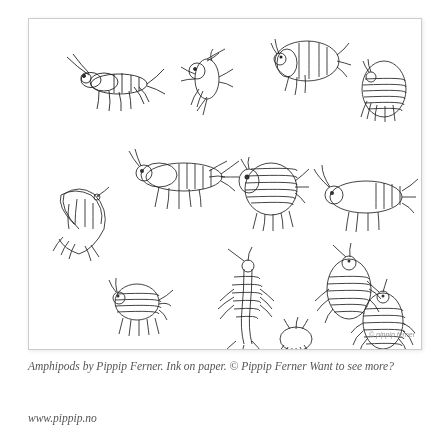[Figure (illustration): Ink drawings of various amphipod crustaceans in different poses and species, drawn in black ink on white paper. Multiple amphipods shown from lateral view, depicting segmented bodies, antennae, and appendages. Copyright Pippip Ferner.]
Amphipods by Pippip Ferner. Ink on paper. © Pippip Ferner Want to see more? www.pippip.no